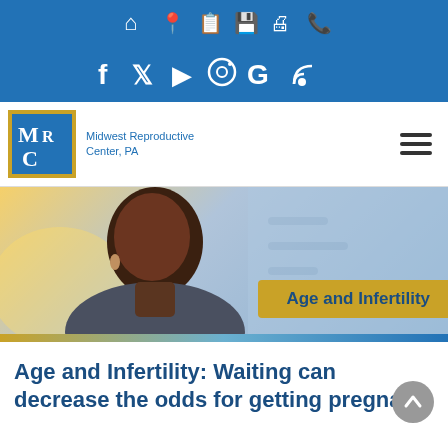Navigation icons bar (home, map, edit, save, print, phone)
Social media icons: Facebook, Twitter, YouTube, Instagram, Google, RSS
[Figure (logo): Midwest Reproductive Center PA logo - MRC letters in blue box with gold border]
Midwest Reproductive Center, PA
[Figure (photo): Portrait photo of a Black woman with curly hair, looking at camera, blurred office background]
Age and Infertility
Age and Infertility: Waiting can decrease the odds for getting pregnant